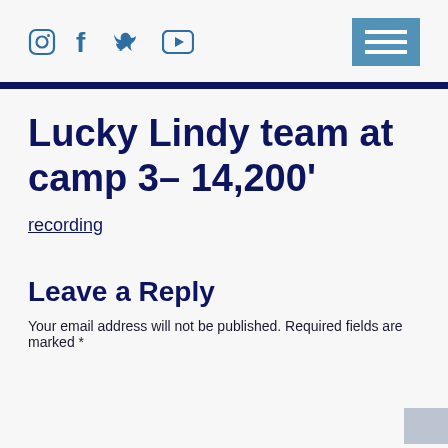Social icons (Instagram, Facebook, Twitter, YouTube) and hamburger menu button
Lucky Lindy team at camp 3– 14,200'
recording
Leave a Reply
Your email address will not be published. Required fields are marked *